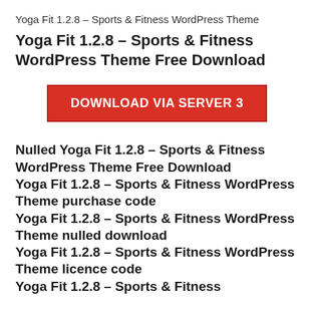Yoga Fit 1.2.8 – Sports & Fitness WordPress Theme
Yoga Fit 1.2.8 – Sports & Fitness WordPress Theme Free Download
[Figure (other): Red download button with text DOWNLOAD VIA SERVER 3]
Nulled Yoga Fit 1.2.8 – Sports & Fitness WordPress Theme Free Download Yoga Fit 1.2.8 – Sports & Fitness WordPress Theme purchase code Yoga Fit 1.2.8 – Sports & Fitness WordPress Theme nulled download Yoga Fit 1.2.8 – Sports & Fitness WordPress Theme licence code Yoga Fit 1.2.8 – Sports & Fitness